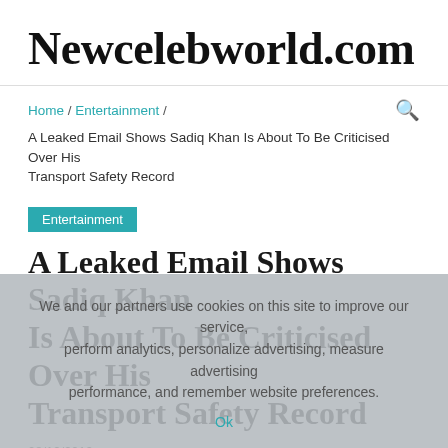Newcelebworld.com
Home / Entertainment / A Leaked Email Shows Sadiq Khan Is About To Be Criticised Over His Transport Safety Record
Entertainment
A Leaked Email Shows Sadiq Khan Is About To Be Criticised Over His Transport Safety Record
08/12/2019
We and our partners use cookies on this site to improve our service, perform analytics, personalize advertising, measure advertising performance, and remember website preferences.